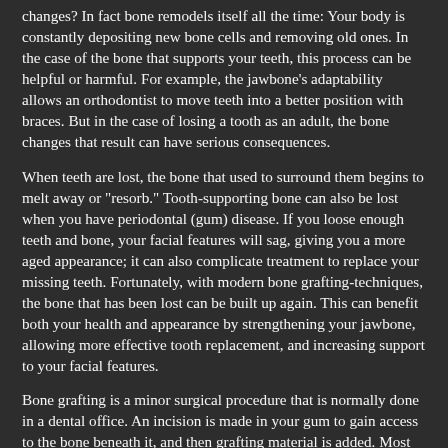changes? In fact bone remodels itself all the time: Your body is constantly depositing new bone cells and removing old ones. In the case of the bone that supports your teeth, this process can be helpful or harmful. For example, the jawbone's adaptability allows an orthodontist to move teeth into a better position with braces. But in the case of losing a tooth as an adult, the bone changes that result can have serious consequences.
When teeth are lost, the bone that used to surround them begins to melt away or "resorb." Tooth-supporting bone can also be lost when you have periodontal (gum) disease. If you loose enough teeth and bone, your facial features will sag, giving you a more aged appearance; it can also complicate treatment to replace your missing teeth. Fortunately, with modern bone grafting-techniques, the bone that has been lost can be built up again. This can benefit both your health and appearance by strengthening your jawbone, allowing more effective tooth replacement, and increasing support to your facial features.
Bone grafting is a minor surgical procedure that is normally done in a dental office. An incision is made in your gum to gain access to the bone beneath it, and then grafting material is added. Most